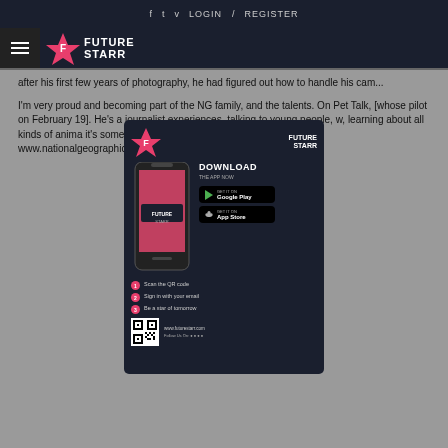f  t  v  LOGIN  /  REGISTER
[Figure (logo): Future Starr logo with hamburger menu icon, star logo mark and FUTURE STARR text in white on dark navy background]
after his first few years of photography, he had figured out how to handle his cam...
I'm very proud and ... becoming part of the NG family, and the ... talents. On Pet Talk, [whose pilot ... on February 19]. He's a journalist ... experiences, talking to young people, ... w, learning about all kinds of anima... it's something new. It makes me happy. (Source: www.nationalgeographic.com)
[Figure (screenshot): Future Starr app advertisement popup overlay showing app download promotion with phone mockup, Google Play and App Store buttons, QR code, and steps to download]